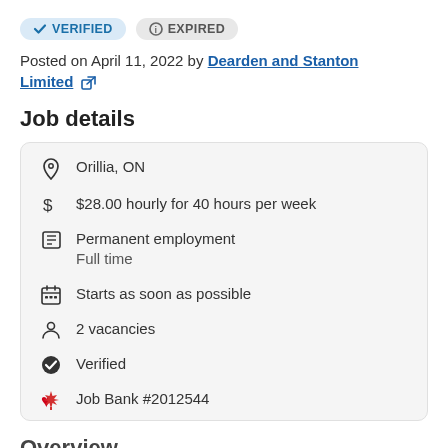VERIFIED   EXPIRED
Posted on April 11, 2022 by Dearden and Stanton Limited
Job details
| Icon | Detail |
| --- | --- |
| location | Orillia, ON |
| dollar | $28.00 hourly for 40 hours per week |
| document | Permanent employment
Full time |
| calendar | Starts as soon as possible |
| person | 2 vacancies |
| checkmark | Verified |
| maple-leaf | Job Bank #2012544 |
Overview